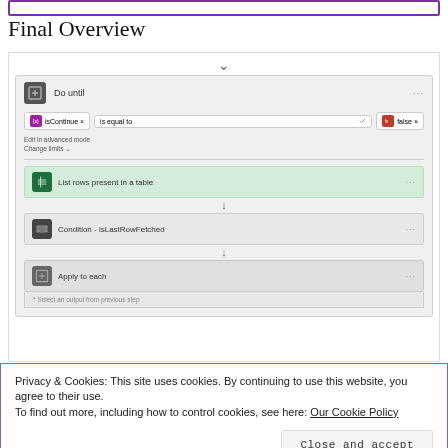[Figure (screenshot): Top purple bordered box from previous section]
Final Overview
[Figure (screenshot): Power Automate flow diagram showing: Do until loop with isContinue equals false condition, containing List rows present in a table step, Condition - isLastRowFetched step, and Apply to each step with 'Select an output from previous step' prompt]
Privacy & Cookies: This site uses cookies. By continuing to use this website, you agree to their use.
To find out more, including how to control cookies, see here: Our Cookie Policy
Close and accept